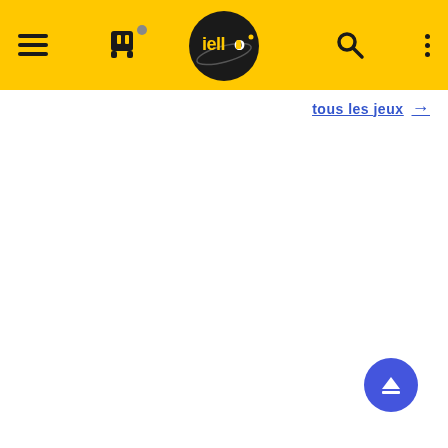[Figure (screenshot): Website header/navigation bar for IELLO board games (iello.fr). Yellow background navbar with hamburger menu icon on left, Twitch icon with notification dot, IELLO circular logo in center overlapping the bar, search icon, three-dot menu icon on right. Below the bar is a 'tous les jeux →' (all games) link in blue. Bottom right has a blue scroll-to-top circular button. Rest of page is white.]